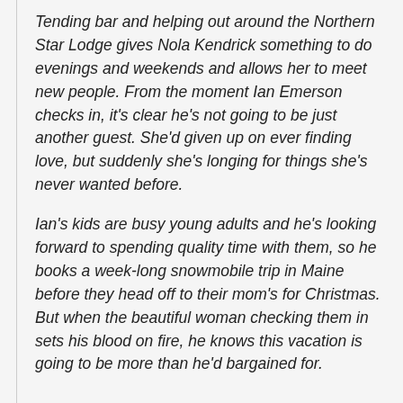Tending bar and helping out around the Northern Star Lodge gives Nola Kendrick something to do evenings and weekends and allows her to meet new people. From the moment Ian Emerson checks in, it's clear he's not going to be just another guest. She'd given up on ever finding love, but suddenly she's longing for things she's never wanted before.
Ian's kids are busy young adults and he's looking forward to spending quality time with them, so he books a week-long snowmobile trip in Maine before they head off to their mom's for Christmas. But when the beautiful woman checking them in sets his blood on fire, he knows this vacation is going to be more than he'd bargained for.